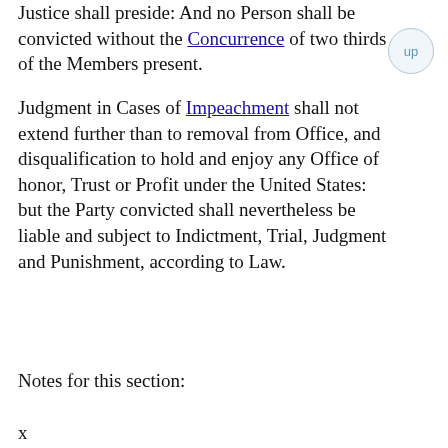Justice shall preside: And no Person shall be convicted without the Concurrence of two thirds of the Members present.
Judgment in Cases of Impeachment shall not extend further than to removal from Office, and disqualification to hold and enjoy any Office of honor, Trust or Profit under the United States: but the Party convicted shall nevertheless be liable and subject to Indictment, Trial, Judgment and Punishment, according to Law.
Notes for this section: